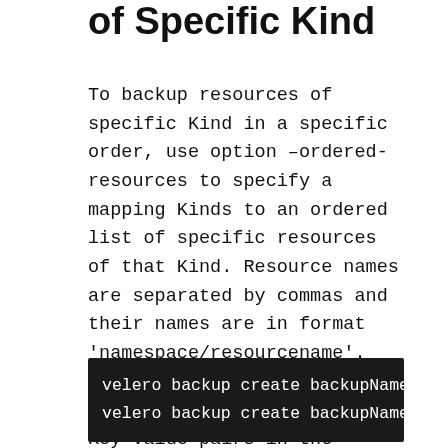of Specific Kind
To backup resources of specific Kind in a specific order, use option –ordered-resources to specify a mapping Kinds to an ordered list of specific resources of that Kind. Resource names are separated by commas and their names are in format 'namespace/resourcename'. For cluster scope resource, simply use resource name. Key-value pairs in the mapping are separated by semi-colon. Kind name is in plural form.
velero backup create backupName --inclu
velero backup create backupName --order